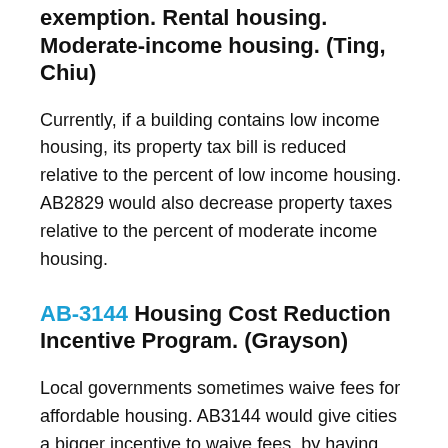exemption. Rental housing. Moderate-income housing. (Ting, Chiu)
Currently, if a building contains low income housing, its property tax bill is reduced relative to the percent of low income housing. AB2829 would also decrease property taxes relative to the percent of moderate income housing.
AB-3144 Housing Cost Reduction Incentive Program. (Grayson)
Local governments sometimes waive fees for affordable housing. AB3144 would give cities a bigger incentive to waive fees, by having the state cover